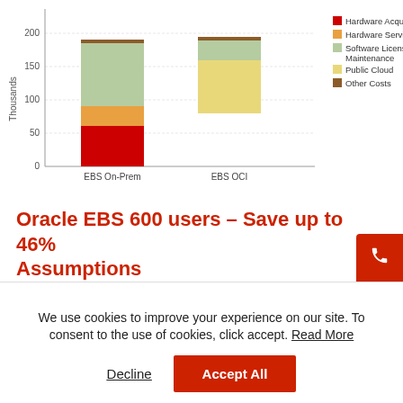[Figure (stacked-bar-chart): ]
Oracle EBS 600 users – Save up to 46% Assumptions
Oracle: 10 OCPU per environment compute, 8 OCPU DB, 9TB storage (includes backups), 2.1Gbps
We use cookies to improve your experience on our site. To consent to the use of cookies, click accept. Read More
Decline  Accept All